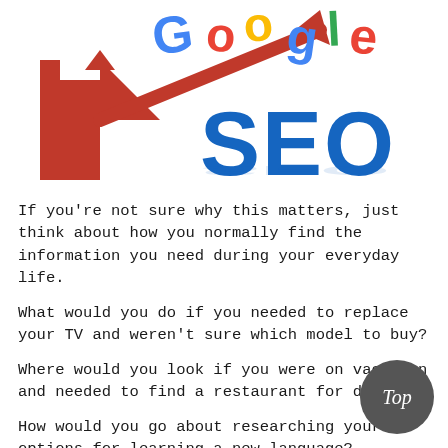[Figure (illustration): SEO illustration showing large blue 3D letters 'SEO' with a red upward-trending arrow and colorful Google logo letters scattered above]
If you're not sure why this matters, just think about how you normally find the information you need during your everyday life.
What would you do if you needed to replace your TV and weren't sure which model to buy?
Where would you look if you were on vacation and needed to find a restaurant for dinner?
How would you go about researching your options for learning a new language?